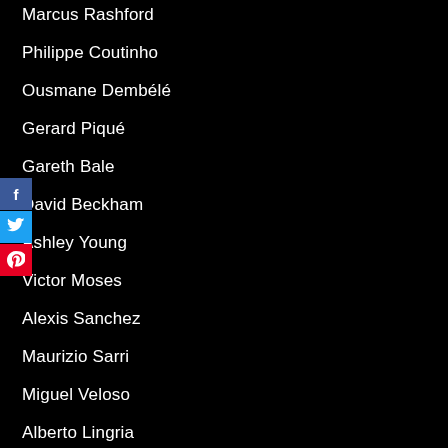Marcus Rashford
Philippe Coutinho
Ousmane Dembélé
Gerard Piqué
Gareth Bale
David Beckham
Ashley Young
Victor Moses
Alexis Sanchez
Maurizio Sarri
Miguel Veloso
Alberto Lingria
Jorge Valdano
Angel Correa
Mutiu Adepoju
Victor Osimhen